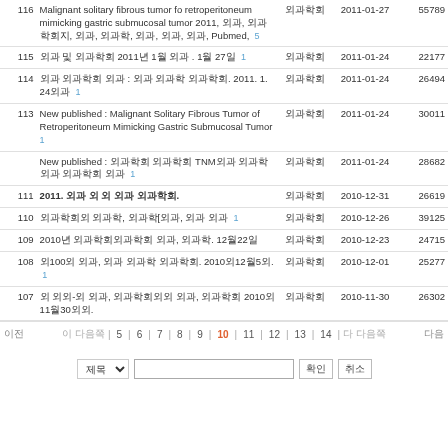| 번호 | 제목 | 분류 | 날짜 | 조회 |
| --- | --- | --- | --- | --- |
| 116 | Malignant solitary fibrous tumor fo retroperitoneum mimicking gastric submucosal tumor 2011, 외과, 외과학회지, 외과, 외과학, 외과, 외과, 외과, Pubmed, 5 | 외과학회 | 2011-01-27 | 55789 |
| 115 | 외과 및 외과학회 2011년 1월 외과 . 1월 27일 1 | 외과학회 | 2011-01-24 | 22177 |
| 114 | 외과 외과학회 외과 : 외과 외과학 외과학회. 2011. 1. 24외과 1 | 외과학회 | 2011-01-24 | 26494 |
| 113 | New published : Malignant Solitary Fibrous Tumor of Retroperitoneum Mimicking Gastric Submucosal Tumor 1 | 외과학회 | 2011-01-24 | 30011 |
|  | New published : 외과학회 외과학회 TNM외과 외과학 외과 외과학회 외과 1 | 외과학회 | 2011-01-24 | 28682 |
| 111 | 2011. 외과 외 외 외과 외과학회. | 외과학회 | 2010-12-31 | 26619 |
| 110 | 외과학회외 외과학, 외과학[외과, 외과 외과 1 | 외과학회 | 2010-12-26 | 39125 |
| 109 | 2010년 외과학회외과학회 외과, 외과학. 12월22일 | 외과학회 | 2010-12-23 | 24715 |
| 108 | 외100외 외과, 외과 외과학 외과학회. 2010외12월5외. 1 | 외과학회 | 2010-12-01 | 25277 |
| 107 | 외 외외-외 외과, 외과학회외외 외과, 외과학회 2010외11월30외외. | 외과학회 | 2010-11-30 | 26302 |
이전  5 | 6 | 7 | 8 | 9 | 10 | 11 | 12 | 13 | 14  다음
제목 검색 확인 취소